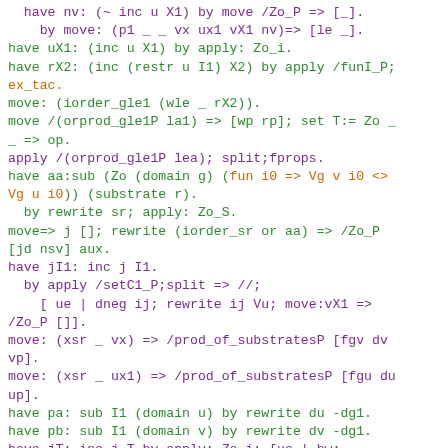have nv: (~ inc u X1) by move /Zo_P => [_].
  by move: (p1 _ _ vx ux1 vX1 nv)=> [le _].
have uX1: (inc u X1) by apply: Zo_i.
have rX2: (inc (restr u I1) X2) by apply /funI_P;
ex_tac.
move: (iorder_gle1 (wle _ rX2)).
move /(orprod_gle1P la1) => [wp rp]; set T:= Zo _
_ => op.
apply /(orprod_gle1P lea); split;fprops.
have aa:sub (Zo (domain g) (fun i0 => Vg v i0 <>
Vg u i0)) (substrate r).
  by rewrite sr; apply: Zo_S.
move=> j []; rewrite (iorder_sr or aa) => /Zo_P
[jd nsv] aux.
have jI1: inc j I1.
  by apply /setC1_P;split => //;
    [ ue | dneg ij; rewrite ij Vu; move:vX1 =>
/Zo_P []].
move: (xsr _ vx) => /prod_of_substratesP [fgv dv
vp].
move: (xsr _ ux1) => /prod_of_substratesP [fgu du
up].
have pa: sub I1 (domain u) by rewrite du -dg1.
have pb: sub I1 (domain v) by rewrite dv -dg1.
have jT: inc j T by apply: Zo_i; [ue | bw;
rewrite rv; bw].
have lej: (least (induced_order r1 T) j).
  move: (iorder_osr or I1sr) => [or1' sr1'].
  have rT: sub T (substrate r1) by rewrite (m...